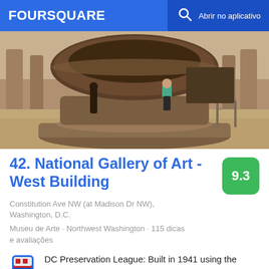FOURSQUARE   Abrir no aplicativo
[Figure (photo): Interior photo of National Gallery of Art West Building showing a large bronze fountain/urn in the center of a marble rotunda. Visitors are visible in the background near classical columns.]
42. National Gallery of Art - West Building
9.3
Constitution Ave NW (at Madison Dr NW), Washington, D.C.
Museu de Arte · Northwest Washington · 115 dicas e avaliações
DC Preservation League: Built in 1941 using the designs o architects John Russell Pope and Eggers & Higgins.